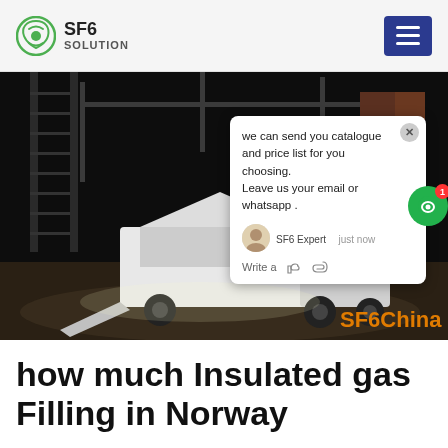SF6 SOLUTION
[Figure (photo): Night-time photo of a truck with SF6 gas filling equipment at an electrical substation in Norway, with industrial structures and high-voltage equipment visible in the background. A chat popup overlay is visible on the right side of the image saying 'we can send you catalogue and price list for you choosing. Leave us your email or whatsapp .' with 'SF6 Expert   just now' and a 'Write a' text bar. SF6China watermark in orange at bottom right.]
how much Insulated gas Filling in Norway